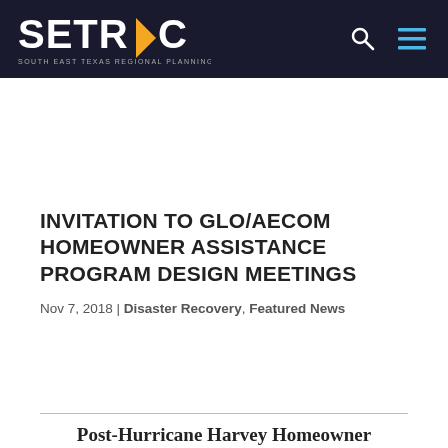SETRPC – South East Texas Regional Planning Commission
INVITATION TO GLO/AECOM HOMEOWNER ASSISTANCE PROGRAM DESIGN MEETINGS
Nov 7, 2018 | Disaster Recovery, Featured News
Post-Hurricane Harvey Homeowner